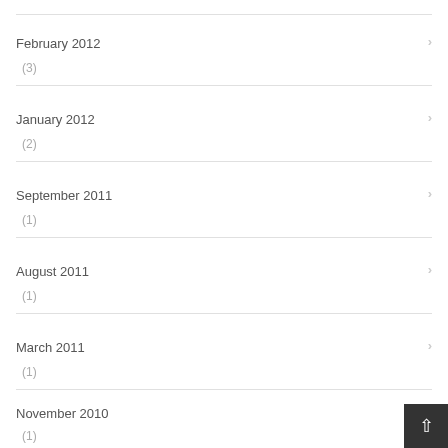February 2012 (3)
January 2012 (2)
September 2011 (1)
August 2011 (1)
March 2011 (1)
November 2010 (1)